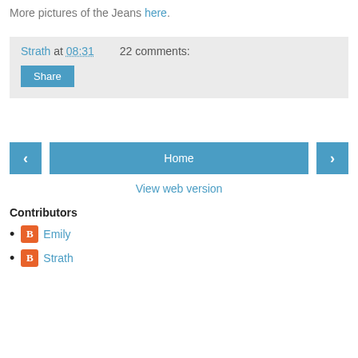More pictures of the Jeans here.
Strath at 08:31    22 comments:
Share
< Home >
View web version
Contributors
Emily
Strath